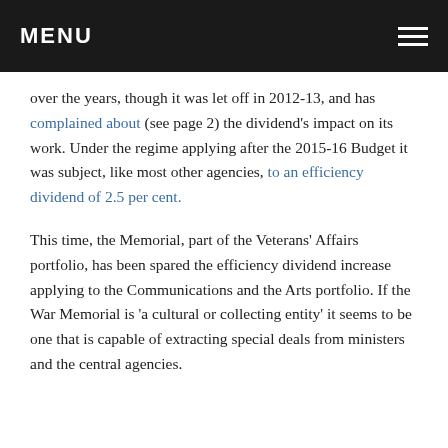MENU
over the years, though it was let off in 2012-13, and has complained about (see page 2) the dividend’s impact on its work. Under the regime applying after the 2015-16 Budget it was subject, like most other agencies, to an efficiency dividend of 2.5 per cent.
This time, the Memorial, part of the Veterans’ Affairs portfolio, has been spared the efficiency dividend increase applying to the Communications and the Arts portfolio. If the War Memorial is ‘a cultural or collecting entity’ it seems to be one that is capable of extracting special deals from ministers and the central agencies.